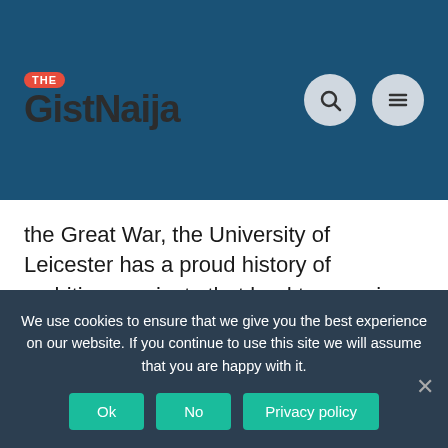[Figure (logo): TheGistNaija logo with red pill badge saying THE and bold dark text GistNaija on teal/dark blue header background, with search and menu icon circles on right]
the Great War, the University of Leicester has a proud history of ambitious projects that lead to amazing discoveries.
About The Award
We use cookies to ensure that we give you the best experience on our website. If you continue to use this site we will assume that you are happy with it.